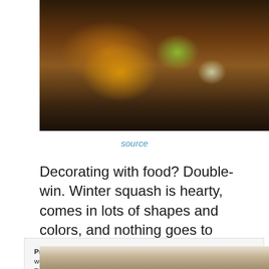[Figure (photo): Decorative winter squash and gourds in wooden bowls on a dark surface]
source
Decorating with food? Double-win. Winter squash is hearty, comes in lots of shapes and colors, and nothing goes to waste because you can cook it up later. You don't need to do much
Privacy & Cookies: This site uses cookies. By continuing to use this website, you agree to their use.
To find out more, including how to control cookies, see here: Cookie Policy
[Figure (photo): Bottom portion of another image visible at the bottom of the page]